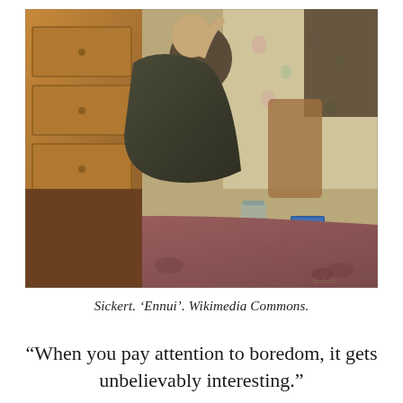[Figure (illustration): Painting by Sickert titled 'Ennui'. An elderly figure in dark clothing sits in a chair, leaning back with one hand raised to face, next to a dresser. A table with a patterned cloth is in the foreground, with a glass and a small box on it. Floral wallpaper in the background.]
Sickert. 'Ennui'. Wikimedia Commons.
“When you pay attention to boredom, it gets unbelievably interesting.”